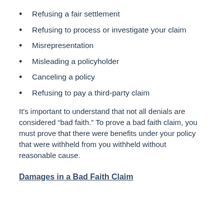Refusing a fair settlement
Refusing to process or investigate your claim
Misrepresentation
Misleading a policyholder
Canceling a policy
Refusing to pay a third-party claim
It’s important to understand that not all denials are considered “bad faith.” To prove a bad faith claim, you must prove that there were benefits under your policy that were withheld from you withheld without reasonable cause.
Damages in a Bad Faith Claim